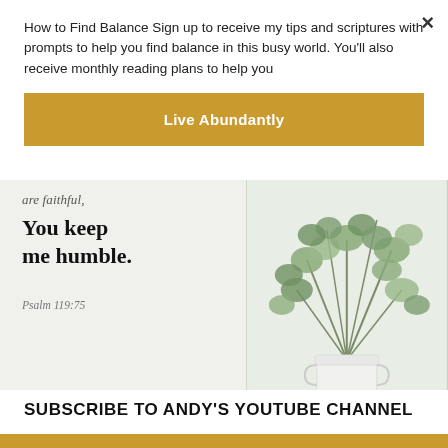How to Find Balance Sign up to receive my tips and scriptures with prompts to help you find balance in this busy world. You'll also receive monthly reading plans to help you
Live Abundantly
[Figure (photo): Scripture card image with text 'are faithful, You keep me humble. Psalm 119:75' alongside eucalyptus plant in white bucket]
SUBSCRIBE TO ANDY'S YOUTUBE CHANNEL